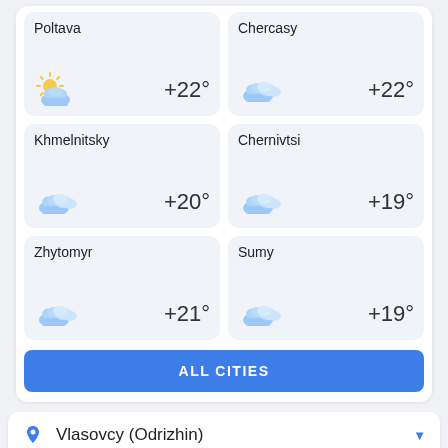Poltava +22°
Chercasy +22°
Khmelnitsky +20°
Chernivtsi +19°
Zhytomyr +21°
Sumy +19°
ALL CITIES
Vlasovcy (Odrizhin)
Today
Tomorrow
7 Day
Weekend
2 Weeks
M